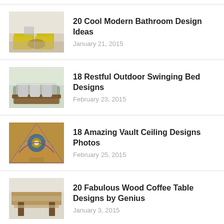20 Cool Modern Bathroom Design Ideas
January 21, 2015
18 Restful Outdoor Swinging Bed Designs
February 23, 2015
18 Amazing Vault Ceiling Designs Photos
February 25, 2015
20 Fabulous Wood Coffee Table Designs by Genius
January 3, 2015